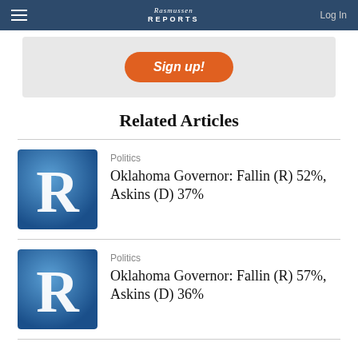Rasmussen Reports — Log In
[Figure (other): Sign up button in a grey box]
Related Articles
[Figure (logo): Rasmussen Reports blue R logo]
Politics — Oklahoma Governor: Fallin (R) 52%, Askins (D) 37%
[Figure (logo): Rasmussen Reports blue R logo]
Politics — Oklahoma Governor: Fallin (R) 57%, Askins (D) 36%